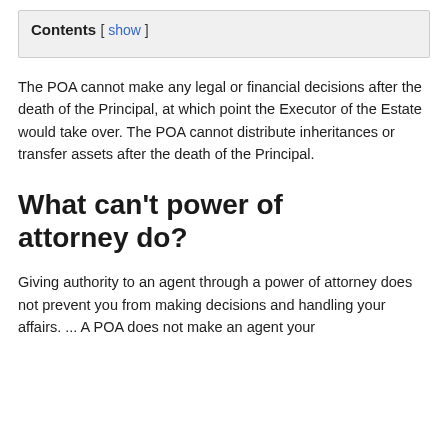Contents [ show ]
The POA cannot make any legal or financial decisions after the death of the Principal, at which point the Executor of the Estate would take over. The POA cannot distribute inheritances or transfer assets after the death of the Principal.
What can't power of attorney do?
Giving authority to an agent through a power of attorney does not prevent you from making decisions and handling your affairs. ... A POA does not make an agent your